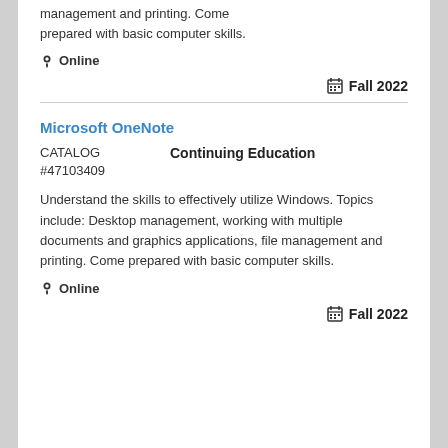management and printing. Come prepared with basic computer skills.
📍 Online
📅 Fall 2022
Microsoft OneNote
CATALOG #47103409  Continuing Education
Understand the skills to effectively utilize Windows. Topics include: Desktop management, working with multiple documents and graphics applications, file management and printing. Come prepared with basic computer skills.
📍 Online
📅 Fall 2022